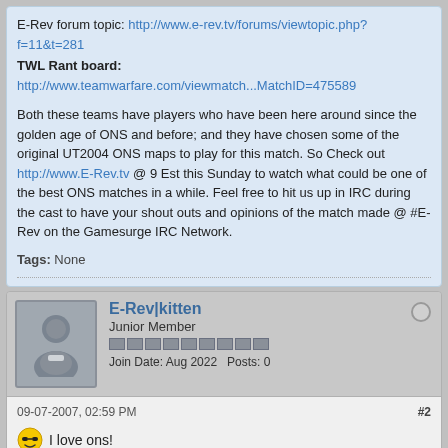E-Rev forum topic: http://www.e-rev.tv/forums/viewtopic.php?f=11&t=281
TWL Rant board:
http://www.teamwarfare.com/viewmatch...MatchID=475589
Both these teams have players who have been here around since the golden age of ONS and before; and they have chosen some of the original UT2004 ONS maps to play for this match. So Check out http://www.E-Rev.tv @ 9 Est this Sunday to watch what could be one of the best ONS matches in a while. Feel free to hit us up in IRC during the cast to have your shout outs and opinions of the match made @ #E-Rev on the Gamesurge IRC Network.
Tags: None
E-Rev|kitten
Junior Member
Join Date: Aug 2022  Posts: 0
09-07-2007, 02:59 PM #2
I love ons!